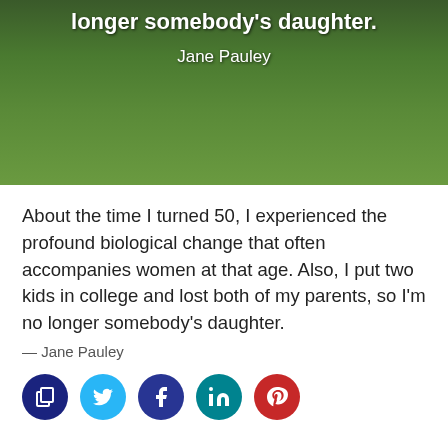[Figure (photo): Green grass background with white overlay text showing a partial quote and attribution to Jane Pauley]
About the time I turned 50, I experienced the profound biological change that often accompanies women at that age. Also, I put two kids in college and lost both of my parents, so I'm no longer somebody's daughter.
— Jane Pauley
[Figure (infographic): Row of five social share buttons: copy (dark blue), Twitter (light blue), Facebook (dark blue), LinkedIn (teal), Pinterest (red)]